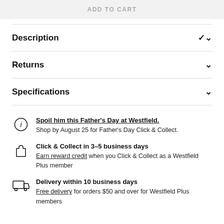ADD TO CART
Description
Returns
Specifications
Spoil him this Father's Day at Westfield. Shop by August 25 for Father's Day Click & Collect.
Click & Collect in 3-5 business days. Earn reward credit when you Click & Collect as a Westfield Plus member
Delivery within 10 business days. Free delivery for orders $50 and over for Westfield Plus members